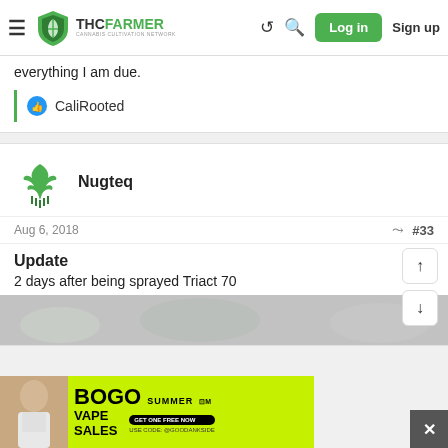THCFarmer Cannabis Cultivation Network - Log in / Sign up
everything I am due.
CaliRooted
Nugteq
Aug 6, 2018  #33
Update
2 days after being sprayed Triact 70
[Figure (photo): Partial view of plant image at bottom of post]
[Figure (infographic): BOGO Summer Vape Sales advertisement banner with person on left side]